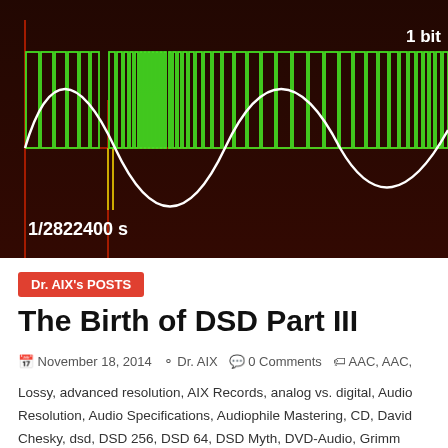[Figure (engineering-diagram): DSD 1-bit signal diagram showing a white sine wave overlaid with green rectangular pulse-width modulated (PWM) digital signal on a dark brown/red background. Red vertical lines mark boundaries. Text label '1 bit' appears top right, and '1/2822400 s' appears lower left indicating the sampling period.]
Dr. AIX's POSTS
The Birth of DSD Part III
November 18, 2014  Dr. AIX  0 Comments  AAC, AAC, Lossy, advanced resolution, AIX Records, analog vs. digital, Audio Resolution, Audio Specifications, Audiophile Mastering, CD, David Chesky, dsd, DSD 256, DSD 64, DSD Myth, DVD-Audio, Grimm Audio, Harmony, HD Downloads, HD Music, hd-audio, Hi Res